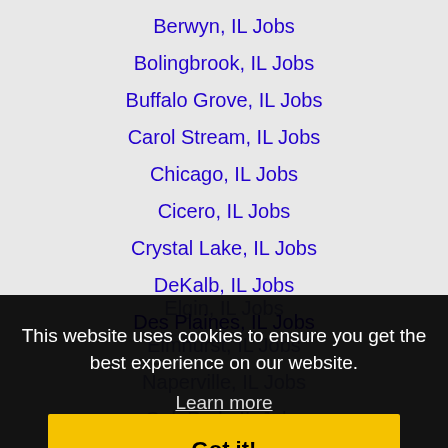Berwyn, IL Jobs
Bolingbrook, IL Jobs
Buffalo Grove, IL Jobs
Carol Stream, IL Jobs
Chicago, IL Jobs
Cicero, IL Jobs
Crystal Lake, IL Jobs
DeKalb, IL Jobs
Des Plaines, IL Jobs
Elgin, IL Jobs
Elmhurst, IL Jobs
This website uses cookies to ensure you get the best experience on our website.
Learn more
Got it!
Naperville, IL Jobs
Oak Park, IL Jobs
Waukegan, IL Jobs
Janesville, WI Jobs
Joliet, IL Jobs